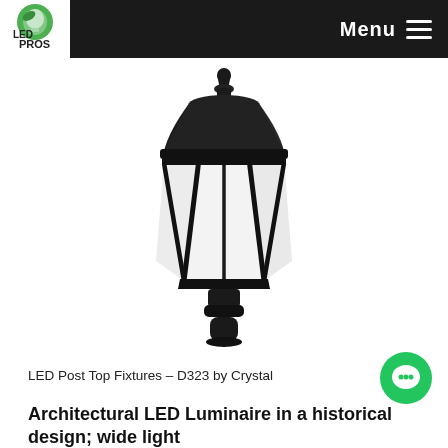Menu
[Figure (photo): LED Post Top Fixture – D323 by Crystal. A black architectural lantern-style LED post top light with hexagonal glass panels, decorative cap and finial on top, mounted on a cylindrical post adapter. White background product photo.]
LED Post Top Fixtures – D323 by Crystal
Architectural LED Luminaire in a historical design; wide light